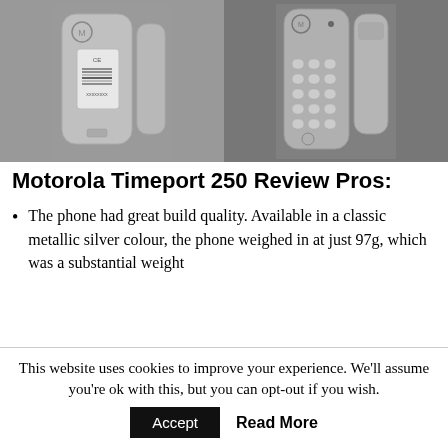[Figure (photo): Two photos of Motorola Timeport 250 phone showing back with battery and front with keypad, metallic silver color]
Motorola Timeport 250 Review Pros:
The phone had great build quality. Available in a classic metallic silver colour, the phone weighed in at just 97g, which was a substantial weight
This website uses cookies to improve your experience. We'll assume you're ok with this, but you can opt-out if you wish.
Accept
Read More